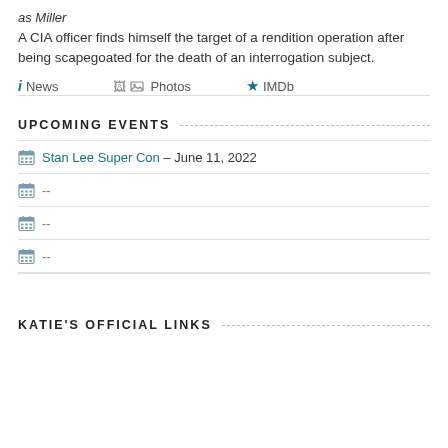as Miller
A CIA officer finds himself the target of a rendition operation after being scapegoated for the death of an interrogation subject.
ℹ News   🖼 Photos   ★ IMDb
UPCOMING EVENTS
Stan Lee Super Con – June 11, 2022
--
--
--
KATIE'S OFFICIAL LINKS